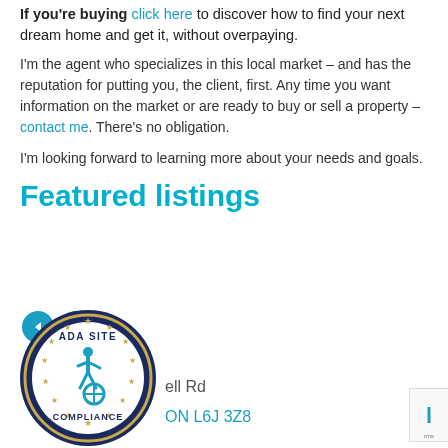If you're buying click here to discover how to find your next dream home and get it, without overpaying.
I'm the agent who specializes in this local market – and has the reputation for putting you, the client, first. Any time you want information on the market or are ready to buy or sell a property – contact me. There's no obligation.
I'm looking forward to learning more about your needs and goals.
Featured listings
[Figure (other): ADA Site Compliance badge — circular navy blue badge with gold stars and accessibility wheelchair icon in the center, with text 'ADA SITE COMPLIANCE' around the border]
ell Rd
ON L6J 3Z8